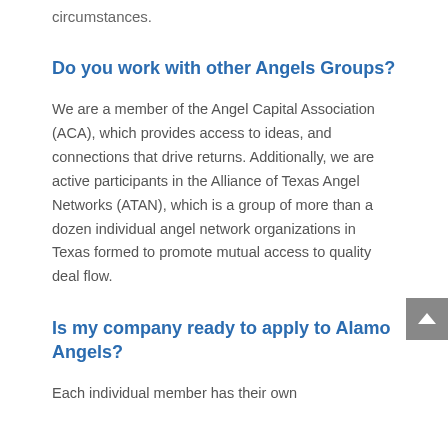circumstances.
Do you work with other Angels Groups?
We are a member of the Angel Capital Association (ACA), which provides access to ideas, and connections that drive returns. Additionally, we are active participants in the Alliance of Texas Angel Networks (ATAN), which is a group of more than a dozen individual angel network organizations in Texas formed to promote mutual access to quality deal flow.
Is my company ready to apply to Alamo Angels?
Each individual member has their own